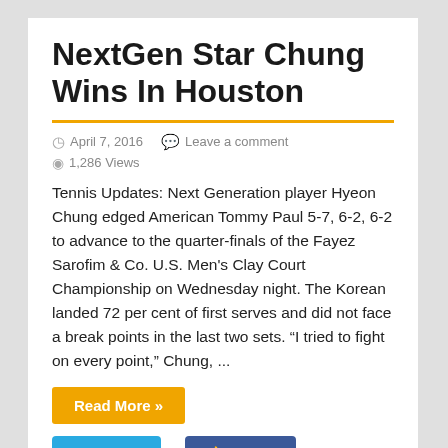NextGen Star Chung Wins In Houston
April 7, 2016   Leave a comment
1,286 Views
Tennis Updates: Next Generation player Hyeon Chung edged American Tommy Paul 5-7, 6-2, 6-2 to advance to the quarter-finals of the Fayez Sarofim & Co. U.S. Men's Clay Court Championship on Wednesday night. The Korean landed 72 per cent of first serves and did not face a break points in the last two sets. “I tried to fight on every point,” Chung, ...
Read More »
Tweet   Like 0   Share